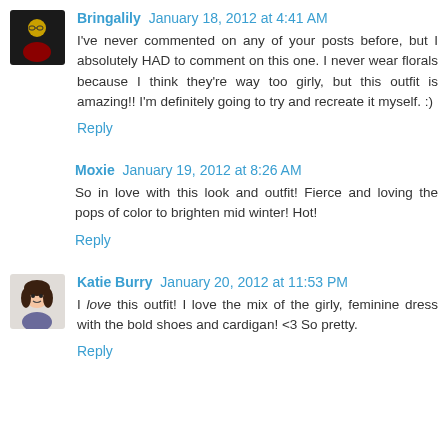Bringalily January 18, 2012 at 4:41 AM
I've never commented on any of your posts before, but I absolutely HAD to comment on this one. I never wear florals because I think they're way too girly, but this outfit is amazing!! I'm definitely going to try and recreate it myself. :)
Reply
Moxie January 19, 2012 at 8:26 AM
So in love with this look and outfit! Fierce and loving the pops of color to brighten mid winter! Hot!
Reply
Katie Burry January 20, 2012 at 11:53 PM
I love this outfit! I love the mix of the girly, feminine dress with the bold shoes and cardigan! <3 So pretty.
Reply